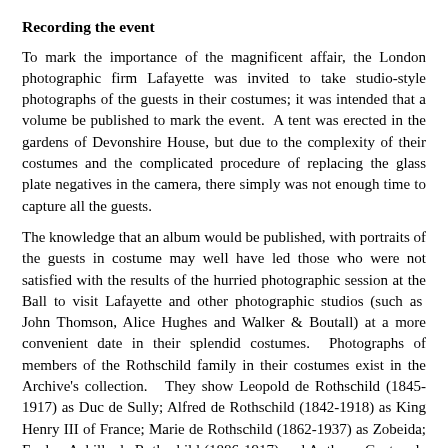Recording the event
To mark the importance of the magnificent affair, the London photographic firm Lafayette was invited to take studio-style photographs of the guests in their costumes; it was intended that a volume be published to mark the event.  A tent was erected in the gardens of Devonshire House, but due to the complexity of their costumes and the complicated procedure of replacing the glass plate negatives in the camera, there simply was not enough time to capture all the guests.
The knowledge that an album would be published, with portraits of the guests in costume may well have led those who were not satisfied with the results of the hurried photographic session at the Ball to visit Lafayette and other photographic studios (such as  John Thomson, Alice Hughes and Walker & Boutall) at a more convenient date in their splendid costumes.  Photographs of members of the Rothschild family in their costumes exist in the Archive's collection.   They show Leopold de Rothschild (1845-1917) as Duc de Sully; Alfred de Rothschild (1842-1918) as King Henry III of France; Marie de Rothschild (1862-1937) as Zobeida; Evelyn Achille de Rothschild (1886-1917) and Anthony Gustav de Rothschild (1887-1961) as pages to the Doge's Wife; Emma, Lady Rothschild (1844-1935) as Lady Vaux (after Holbein); and Baron Ferdinand de Rothschild (1839-1898) as Stair in Count Palatine at one of the costumes finally